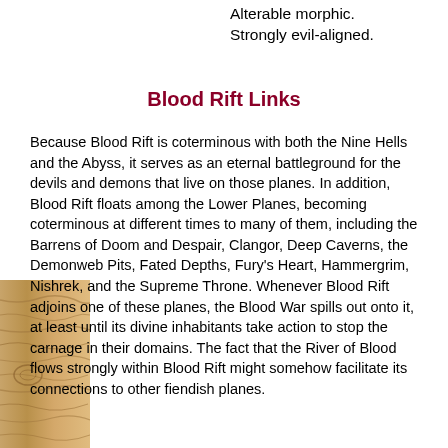Alterable morphic.
Strongly evil-aligned.
Blood Rift Links
Because Blood Rift is coterminous with both the Nine Hells and the Abyss, it serves as an eternal battleground for the devils and demons that live on those planes. In addition, Blood Rift floats among the Lower Planes, becoming coterminous at different times to many of them, including the Barrens of Doom and Despair, Clangor, Deep Caverns, the Demonweb Pits, Fated Depths, Fury's Heart, Hammergrim, Nishrek, and the Supreme Throne. Whenever Blood Rift adjoins one of these planes, the Blood War spills out onto it, at least until its divine inhabitants take action to stop the carnage in their domains. The fact that the River of Blood flows strongly within Blood Rift might somehow facilitate its connections to other fiendish planes.